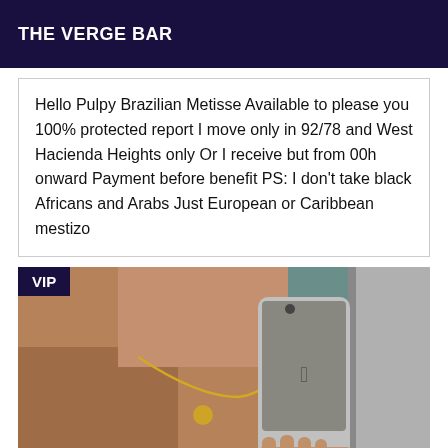THE VERGE BAR
Hello Pulpy Brazilian Metisse Available to please you 100% protected report I move only in 92/78 and West Hacienda Heights only Or I receive but from 00h onward Payment before benefit PS: I don't take black Africans and Arabs Just European or Caribbean mestizo
[Figure (photo): Mirror selfie photo showing a person wearing a gold necklace and holding a silver iPhone, with a 'VIP' badge overlaid in the top-left corner.]